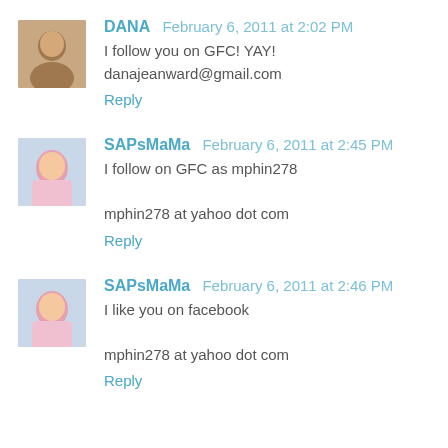DANA  February 6, 2011 at 2:02 PM
I follow you on GFC! YAY! danajeanward@gmail.com
Reply
SAPsMaMa  February 6, 2011 at 2:45 PM
I follow on GFC as mphin278
mphin278 at yahoo dot com
Reply
SAPsMaMa  February 6, 2011 at 2:46 PM
I like you on facebook
mphin278 at yahoo dot com
Reply